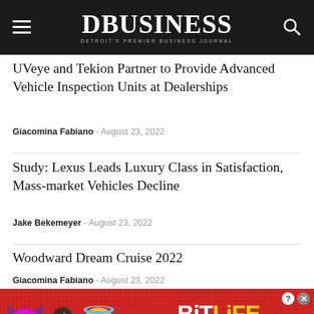DBUSINESS — Detroit's Premier Business Journal
UVeye and Tekion Partner to Provide Advanced Vehicle Inspection Units at Dealerships
Giacomina Fabiano - August 23, 2022
Study: Lexus Leads Luxury Class in Satisfaction, Mass-market Vehicles Decline
Jake Bekemeyer - August 23, 2022
Woodward Dream Cruise 2022
Giacomina Fabiano - August 23, 2022
[Figure (other): BitLife mobile game advertisement banner with emoji characters (devil, person, angel, sperm) on red background with 'REAL CHOICES' text]